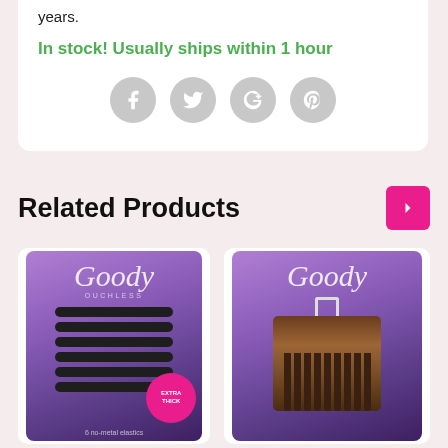years.
In stock! Usually ships within 1 hour
[Figure (infographic): Social media share buttons: Facebook, Twitter, Google+, Pinterest — grey circular icons]
Related Products
[Figure (photo): Goody Ouchless extra thick elastic hair bands product packaging, purple background with dark elastic bands and pink Extra Thick badge]
[Figure (photo): Goody hair comb product packaging, purple background with brown/tortoise side comb]